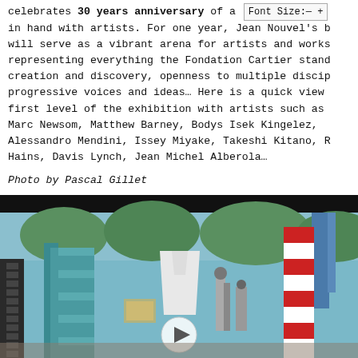celebrates 30 years anniversary of a [Font Size:- +] in hand with artists. For one year, Jean Nouvel's b will serve as a vibrant arena for artists and works representing everything the Fondation Cartier stand creation and discovery, openness to multiple discip progressive voices and ideas… Here is a quick view first level of the exhibition with artists such as Marc Newsom, Matthew Barney, Bodys Isek Kingelez, Alessandro Mendini, Issey Miyake, Takeshi Kitano, R Hains, Davis Lynch, Jean Michel Alberola…
Photo by Pascal Gillet
[Figure (photo): Interior photograph of an art exhibition featuring colorful sculptural installations — a large stepped/tiered sculpture in teal and red-white striped colors, with elaborate mechanical and architectural model structures, taken at the Fondation Cartier exhibition.]